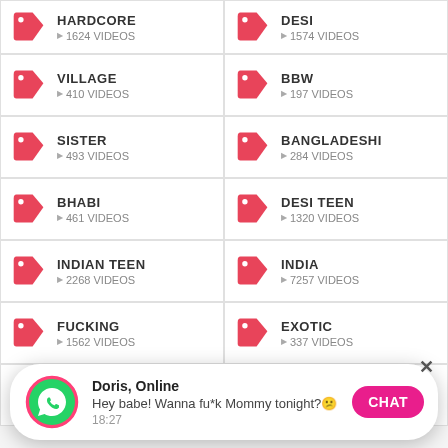HARDCORE ▶ 1624 VIDEOS
DESI ▶ 1574 VIDEOS
VILLAGE ▶ 410 VIDEOS
BBW ▶ 197 VIDEOS
SISTER ▶ 493 VIDEOS
BANGLADESHI ▶ 284 VIDEOS
BHABI ▶ 461 VIDEOS
DESI TEEN ▶ 1320 VIDEOS
INDIAN TEEN ▶ 2268 VIDEOS
INDIA ▶ 7257 VIDEOS
FUCKING ▶ 1562 VIDEOS
EXOTIC ▶ 337 VIDEOS
MAID ▶ 372 VIDEOS
REALITY ▶ 261 VIDEOS
Doris, Online — Hey babe! Wanna fu*k Mommy tonight? 18:27 CHAT